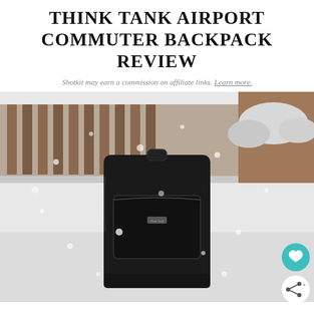THINK TANK AIRPORT COMMUTER BACKPACK REVIEW
Shotkit may earn a commission on affiliate links. Learn more.
[Figure (photo): Black Think Tank Airport Commuter backpack placed on snow-covered ground, with snow falling and a snowy wooden fence and trees in the background. Two floating action buttons are visible in the lower right: a teal heart icon and a white share icon.]